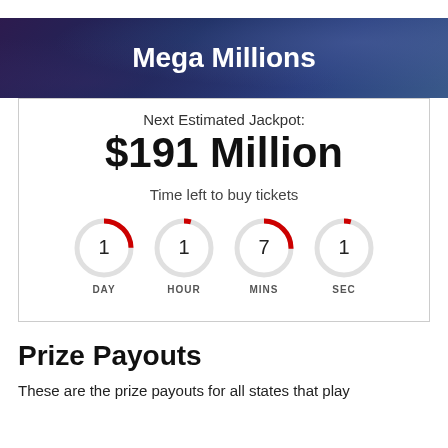Mega Millions
Next Estimated Jackpot:
$191 Million
Time left to buy tickets
[Figure (infographic): Four circular countdown timers showing 1 DAY, 1 HOUR, 7 MINS, 1 SEC with red arc indicators on gray circles]
Prize Payouts
These are the prize payouts for all states that play